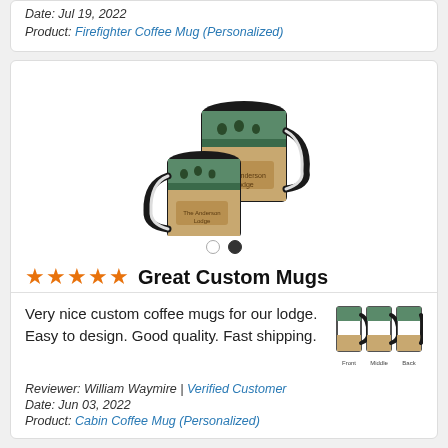Date: Jul 19, 2022
Product: Firefighter Coffee Mug (Personalized)
[Figure (photo): Two custom coffee mugs with black handles and lodge/bear/forest design, shown in a product photograph]
Great Custom Mugs
Very nice custom coffee mugs for our lodge. Easy to design. Good quality. Fast shipping.
[Figure (photo): Three small thumbnail views of the cabin coffee mug labeled Front, Middle, Back]
Reviewer: William Waymire | Verified Customer
Date: Jun 03, 2022
Product: Cabin Coffee Mug (Personalized)